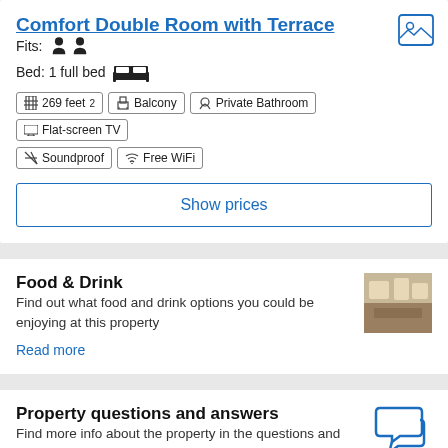Comfort Double Room with Terrace
Fits: 2 persons
Bed: 1 full bed
269 feet²  Balcony  Private Bathroom  Flat-screen TV  Soundproof  Free WiFi
Show prices
Food & Drink
Find out what food and drink options you could be enjoying at this property
Read more
Property questions and answers
Find more info about the property in the questions and